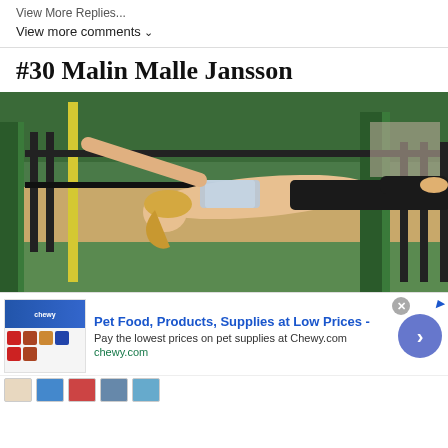View More Replies...
View more comments ∨
#30 Malin Malle Jansson
[Figure (photo): A athletic woman with blonde hair performing a horizontal bar hold at an outdoor gym. She is wearing a patterned sports bra and black leggings, suspended horizontally while gripping metal bars. Background shows green hedges and grass.]
[Figure (screenshot): Advertisement banner for Chewy.com: 'Pet Food, Products, Supplies at Low Prices - Pay the lowest prices on pet supplies at Chewy.com, chewy.com'. Shows product images and a blue arrow button.]